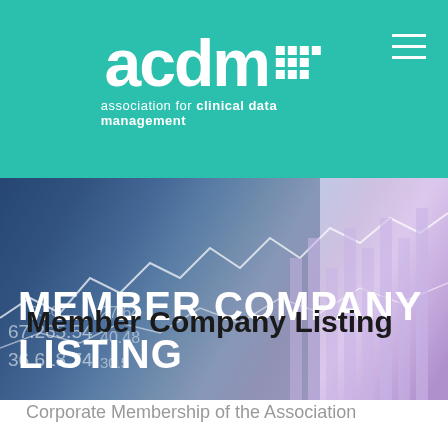acdm — association for clinical data management
[Figure (photo): Hero banner image showing financial data charts/graphs with the text MEMBER COMPANY LISTING overlaid in white uppercase letters. Background shows financial numbers and a hand on keyboard with blue/purple tones.]
Member Company Listing
Corporate Membership of the Association